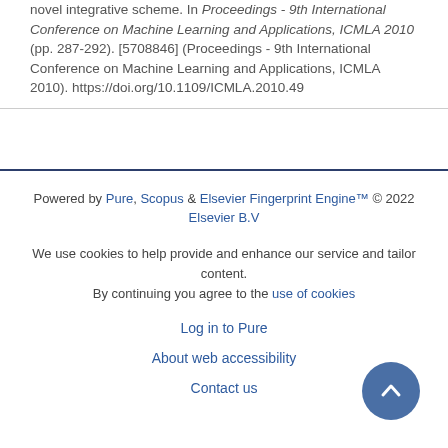novel integrative scheme. In Proceedings - 9th International Conference on Machine Learning and Applications, ICMLA 2010 (pp. 287-292). [5708846] (Proceedings - 9th International Conference on Machine Learning and Applications, ICMLA 2010). https://doi.org/10.1109/ICMLA.2010.49
Powered by Pure, Scopus & Elsevier Fingerprint Engine™ © 2022 Elsevier B.V
We use cookies to help provide and enhance our service and tailor content. By continuing you agree to the use of cookies
Log in to Pure
About web accessibility
Contact us